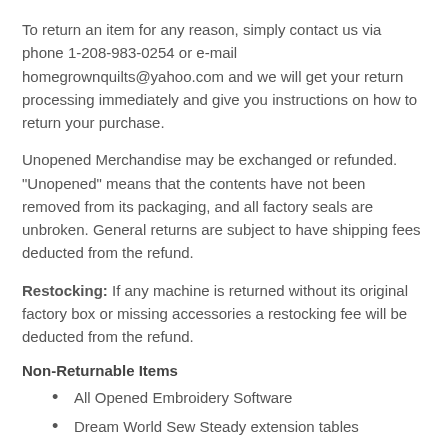To return an item for any reason, simply contact us via phone 1-208-983-0254 or e-mail homegrownquilts@yahoo.com and we will get your return processing immediately and give you instructions on how to return your purchase.
Unopened Merchandise may be exchanged or refunded. "Unopened" means that the contents have not been removed from its packaging, and all factory seals are unbroken. General returns are subject to have shipping fees deducted from the refund.
Restocking: If any machine is returned without its original factory box or missing accessories a restocking fee will be deducted from the refund.
Non-Returnable Items
All Opened Embroidery Software
Dream World Sew Steady extension tables
Cut fabric
Patterns/books
Defective Merchandise: If you receive an item that is defective, notify us